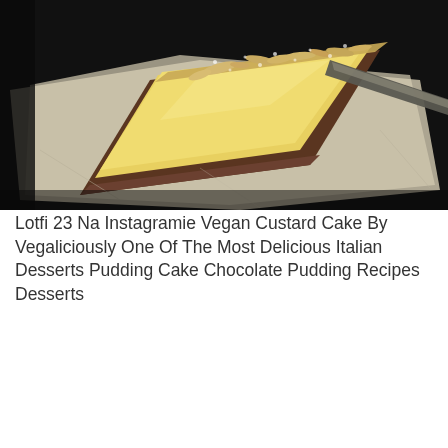[Figure (photo): A slice of tart or cake with a golden custard filling and a dark crumbly crust, topped with sliced almonds and powdered sugar, placed on crinkled parchment paper on a dark surface. A knife or server is visible on the right side.]
Lotfi 23 Na Instagramie Vegan Custard Cake By Vegaliciously One Of The Most Delicious Italian Desserts Pudding Cake Chocolate Pudding Recipes Desserts